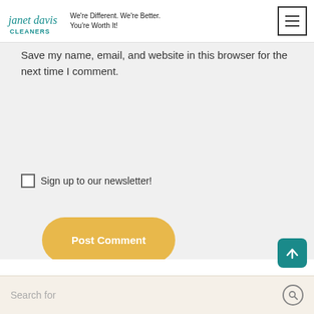janet davis CLEANERS — We're Different. We're Better. You're Worth It!
Save my name, email, and website in this browser for the next time I comment.
Post Comment
Sign up to our newsletter!
Search for